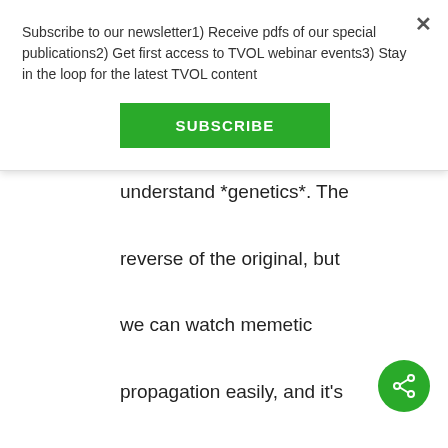Subscribe to our newsletter1) Receive pdfs of our special publications2) Get first access to TVOL webinar events3) Stay in the loop for the latest TVOL content
SUBSCRIBE
understand *genetics*. The reverse of the original, but we can watch memetic propagation easily, and it’s not so fraught with controversy, so it might be easier to study initially.
↳ Reply